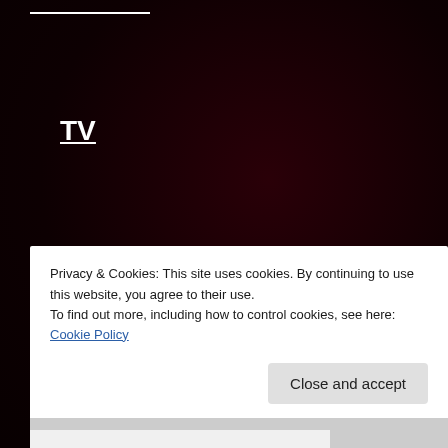TV
Follow me on Twitter
My Tweets
Archives
Privacy & Cookies: This site uses cookies. By continuing to use this website, you agree to their use.
To find out more, including how to control cookies, see here: Cookie Policy
Close and accept